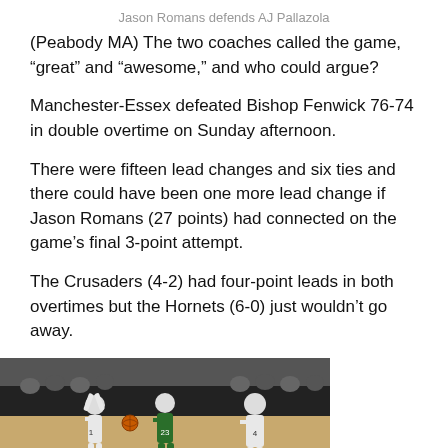Jason Romans defends AJ Pallazola
(Peabody MA) The two coaches called the game, “great” and “awesome,” and who could argue?
Manchester-Essex defeated Bishop Fenwick 76-74 in double overtime on Sunday afternoon.
There were fifteen lead changes and six ties and there could have been one more lead change if Jason Romans (27 points) had connected on the game’s final 3-point attempt.
The Crusaders (4-2) had four-point leads in both overtimes but the Hornets (6-0) just wouldn’t go away.
[Figure (photo): Basketball game action photo showing players in white and green uniforms on an indoor court with spectators in the background.]